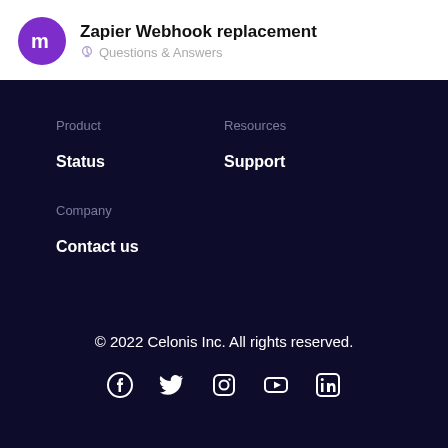Zapier Webhook replacement
Questions & Answers
Product
Resources
Status
Support
Company
Contact us
© 2022 Celonis Inc. All rights reserved.